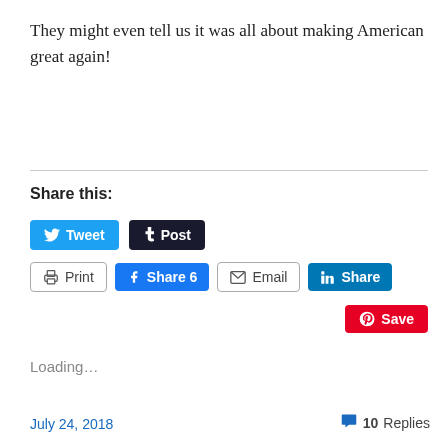They might even tell us it was all about making American great again!
Share this:
[Figure (screenshot): Social share buttons: Tweet, Post (Tumblr), Print, Share 6 (Facebook), Email, Share (LinkedIn), Save (Pinterest)]
Loading...
July 24, 2018  10 Replies